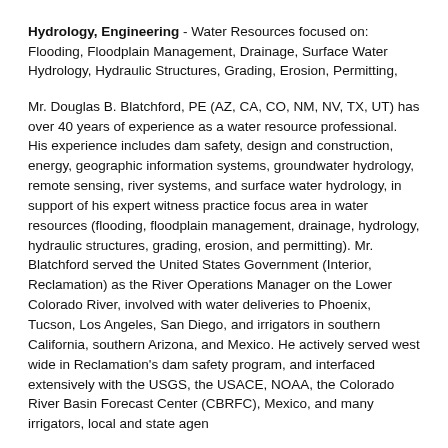Hydrology, Engineering - Water Resources focused on: Flooding, Floodplain Management, Drainage, Surface Water Hydrology, Hydraulic Structures, Grading, Erosion, Permitting,
Mr. Douglas B. Blatchford, PE (AZ, CA, CO, NM, NV, TX, UT) has over 40 years of experience as a water resource professional. His experience includes dam safety, design and construction, energy, geographic information systems, groundwater hydrology, remote sensing, river systems, and surface water hydrology, in support of his expert witness practice focus area in water resources (flooding, floodplain management, drainage, hydrology, hydraulic structures, grading, erosion, and permitting). Mr. Blatchford served the United States Government (Interior, Reclamation) as the River Operations Manager on the Lower Colorado River, involved with water deliveries to Phoenix, Tucson, Los Angeles, San Diego, and irrigators in southern California, southern Arizona, and Mexico. He actively served west wide in Reclamation's dam safety program, and interfaced extensively with the USGS, the USACE, NOAA, the Colorado River Basin Forecast Center (CBRFC), Mexico, and many irrigators, local and state agen...